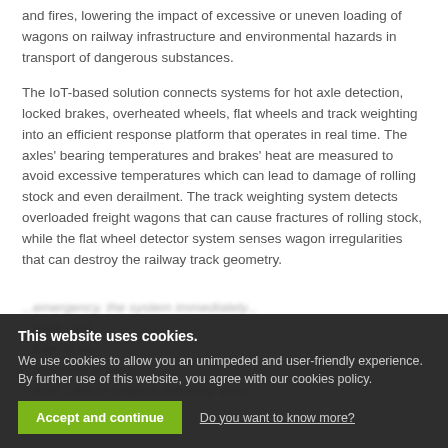and fires, lowering the impact of excessive or uneven loading of wagons on railway infrastructure and environmental hazards in transport of dangerous substances.
The IoT-based solution connects systems for hot axle detection, locked brakes, overheated wheels, flat wheels and track weighting into an efficient response platform that operates in real time. The axles' bearing temperatures and brakes' heat are measured to avoid excessive temperatures which can lead to damage of rolling stock and even derailment. The track weighting system detects overloaded freight wagons that can cause fractures of rolling stock, while the flat wheel detector system senses wagon irregularities that can destroy the railway track geometry.
This website uses cookies. We use cookies to allow you an unimpeded and user-friendly experience. By further use of this website, you agree with our cookies policy. Accept and continue. Do you want to know more?